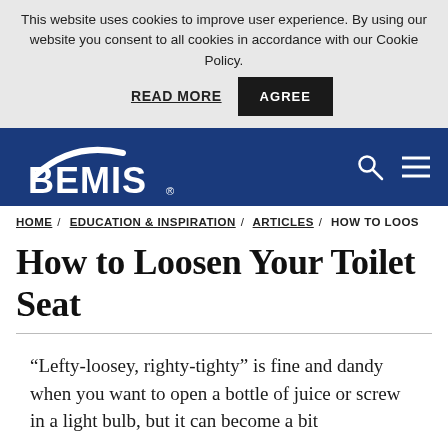This website uses cookies to improve user experience. By using our website you consent to all cookies in accordance with our Cookie Policy.
READ MORE   AGREE
[Figure (logo): BEMIS company logo in white on dark blue navigation header with search and hamburger menu icons]
HOME / EDUCATION & INSPIRATION / ARTICLES / HOW TO LOOS
How to Loosen Your Toilet Seat
“Lefty-loosey, righty-tighty” is fine and dandy when you want to open a bottle of juice or screw in a light bulb, but it can become a bit